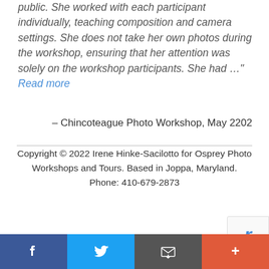public. She worked with each participant individually, teaching composition and camera settings. She does not take her own photos during the workshop, ensuring that her attention was solely on the workshop participants. She had …" Read more
– Chincoteague Photo Workshop, May 2202
Copyright © 2022 Irene Hinke-Sacilotto for Osprey Photo Workshops and Tours. Based in Joppa, Maryland. Phone: 410-679-2873
[Figure (illustration): Osprey bird with wings spread wide, black and white illustration used as logo for Osprey Photo Workshops]
Facebook | Twitter | Email | More social sharing options